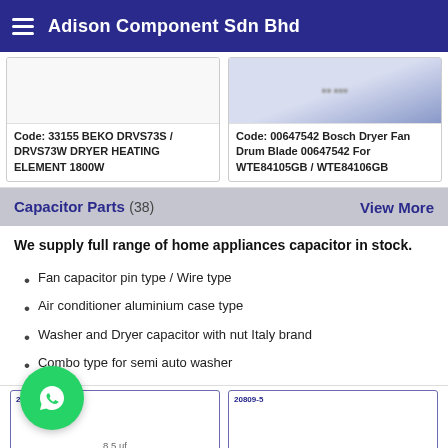Adison Component Sdn Bhd
Code: 33155 BEKO DRVS73S / DRVS73W DRYER HEATING ELEMENT 1800W
Code: 00647542 Bosch Dryer Fan Drum Blade 00647542 For WTE84105GB / WTE84106GB
Capacitor Parts (38)
View More
We supply full range of home appliances capacitor in stock.
Fan capacitor pin type / Wire type
Air conditioner aluminium case type
Washer and Dryer capacitor with nut Italy brand
Combo type for semi auto washer
[Figure (screenshot): WhatsApp contact button (green circle with phone icon)]
[Figure (photo): Product image placeholder left - capacitor part with label 20... and 8.5 uf]
[Figure (photo): Product image placeholder right - capacitor part with label 20809-5, Indesit / Ariston Dryer Capacitor 9.5 uf]